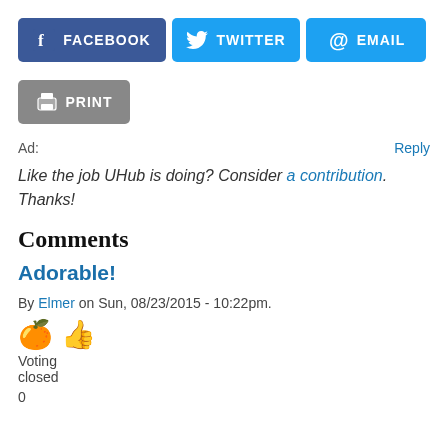[Figure (other): Social share buttons: Facebook, Twitter, Email, Print]
Ad:
Reply
Like the job UHub is doing? Consider a contribution. Thanks!
Comments
Adorable!
By Elmer on Sun, 08/23/2015 - 10:22pm.
[Figure (other): Thumbs up emoji icon]
Voting closed
0